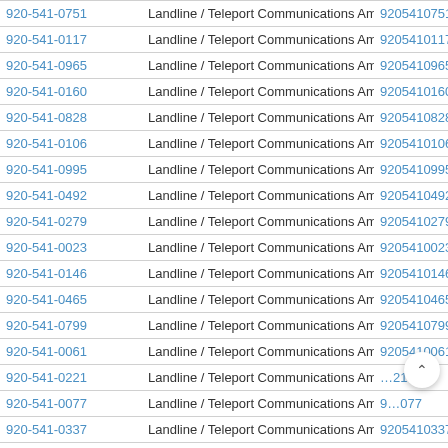| Phone | Type / Carrier | Number |
| --- | --- | --- |
| 920-541-0751 | Landline / Teleport Communications America | 9205410751 |
| 920-541-0117 | Landline / Teleport Communications America | 9205410117 |
| 920-541-0965 | Landline / Teleport Communications America | 9205410965 |
| 920-541-0160 | Landline / Teleport Communications America | 9205410160 |
| 920-541-0828 | Landline / Teleport Communications America | 9205410828 |
| 920-541-0106 | Landline / Teleport Communications America | 9205410106 |
| 920-541-0995 | Landline / Teleport Communications America | 9205410995 |
| 920-541-0492 | Landline / Teleport Communications America | 9205410492 |
| 920-541-0279 | Landline / Teleport Communications America | 9205410279 |
| 920-541-0023 | Landline / Teleport Communications America | 9205410023 |
| 920-541-0146 | Landline / Teleport Communications America | 9205410146 |
| 920-541-0465 | Landline / Teleport Communications America | 9205410465 |
| 920-541-0799 | Landline / Teleport Communications America | 9205410799 |
| 920-541-0061 | Landline / Teleport Communications America | 9205410061 |
| 920-541-0221 | Landline / Teleport Communications America | 9205410221 |
| 920-541-0077 | Landline / Teleport Communications America | 9205410077 |
| 920-541-0337 | Landline / Teleport Communications America | 9205410337 |
| 920-541-0346 | Landline / Teleport Communications America | 9205410346 |